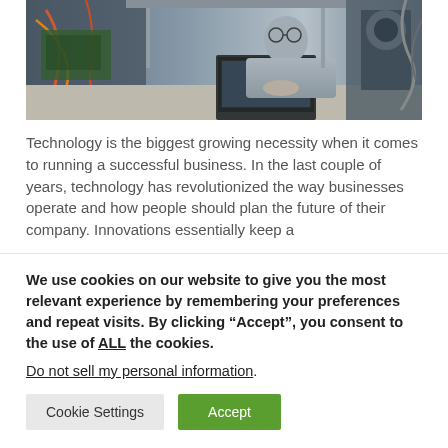[Figure (photo): Woman with glasses working on a laptop at an industrial electronics workbench with cables and equipment]
Technology is the biggest growing necessity when it comes to running a successful business. In the last couple of years, technology has revolutionized the way businesses operate and how people should plan the future of their company. Innovations essentially keep a
We use cookies on our website to give you the most relevant experience by remembering your preferences and repeat visits. By clicking “Accept”, you consent to the use of ALL the cookies.
Do not sell my personal information.
Cookie Settings   Accept